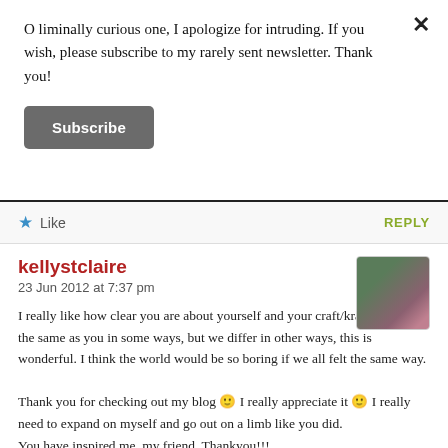O liminally curious one, I apologize for intruding. If you wish, please subscribe to my rarely sent newsletter. Thank you!
Subscribe
Like    REPLY
kellystclaire
23 Jun 2012 at 7:37 pm
I really like how clear you are about yourself and your craft/kraft 🙂 I feel the same as you in some ways, but we differ in other ways, this is wonderful. I think the world would be so boring if we all felt the same way.

Thank you for checking out my blog 🙂 I really appreciate it 🙂 I really need to expand on myself and go out on a limb like you did. You have inspired me, my friend. Thankyou!!!